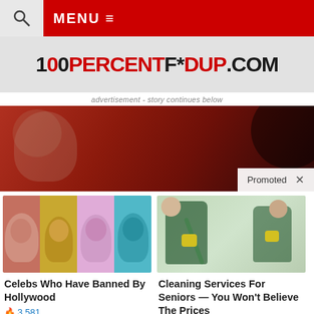🔍  MENU ≡
[Figure (logo): 100PERCENTF*EDUP.COM logo in bold grunge font, black and red]
advertisement - story continues below
[Figure (photo): Advertisement banner showing elderly figure against red background with 'Promoted X' badge]
[Figure (photo): Collage of celebrity faces (Scarlett Johansson, Justin Bieber, woman with silver hair, Kanye West) on colorful backgrounds]
Celebs Who Have Banned By Hollywood
🔥 3,581
[Figure (photo): Two cleaning service workers in green uniforms with yellow gloves and mop/cleaning supplies in a home setting]
Cleaning Services For Seniors — You Won't Believe The Prices
🔥 6,128